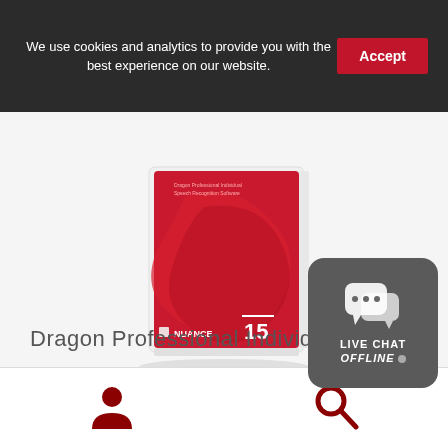We use cookies and analytics to provide you with the best experience on our website.
Accept
[Figure (photo): Dragon Professional Individual version 15 software box — red box with large stylized dragon head icon, Nuance branding, on a light gray background]
Dragon Professional Individual
[Figure (illustration): Live Chat widget — dark gray rounded rectangle with chat bubble icons, text LIVE CHAT OFFLINE with gray dot]